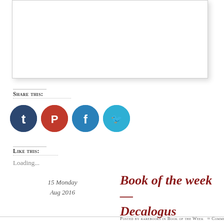[Figure (other): White rectangular image box with drop shadow, appears to be a content image placeholder]
Share this:
[Figure (infographic): Four social media circular icon buttons: Tumblr (dark navy), Pinterest (red), Facebook (blue), Twitter (light blue)]
Like this:
Loading...
15 Monday
Aug 2016
Book of the week — Decalogus
Posted by rarebooks in Book of the Week   ≈ Comments